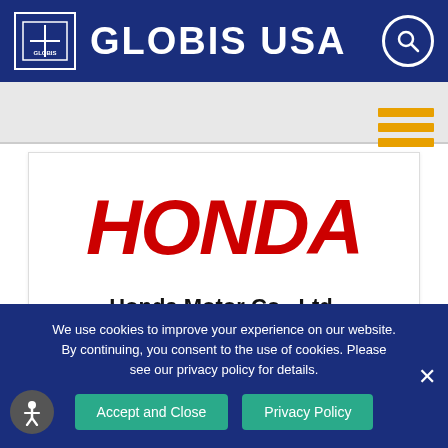GLOBIS USA
[Figure (logo): Honda Motor Co., Ltd. logo — red bold italic HONDA text]
Honda Motor Co., Ltd.
We believe that GLOBIS Manabihodai is useful not
We use cookies to improve your experience on our website. By continuing, you consent to the use of cookies. Please see our privacy policy for details.